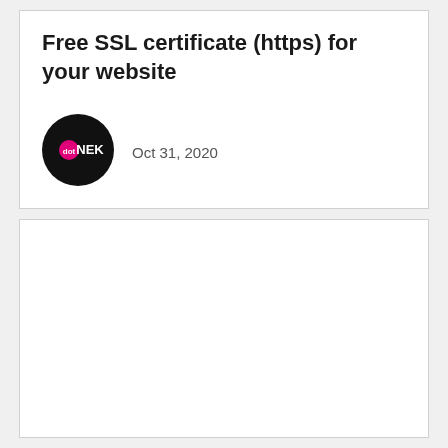Free SSL certificate (https) for your website
Oct 31, 2020
[Figure (other): Empty white content card below the header]